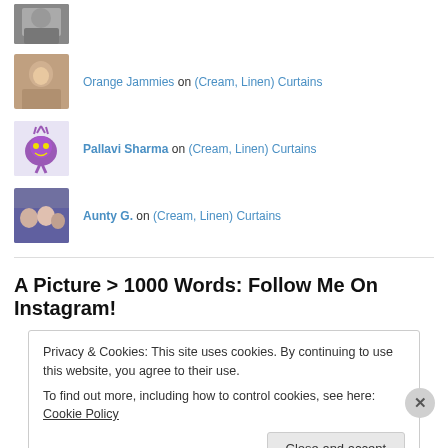[Figure (photo): Partial avatar photo of a person at the top, cropped]
Orange Jammies on (Cream, Linen) Curtains
Pallavi Sharma on (Cream, Linen) Curtains
Aunty G. on (Cream, Linen) Curtains
A Picture > 1000 Words: Follow Me On Instagram!
Privacy & Cookies: This site uses cookies. By continuing to use this website, you agree to their use.
To find out more, including how to control cookies, see here: Cookie Policy
Close and accept